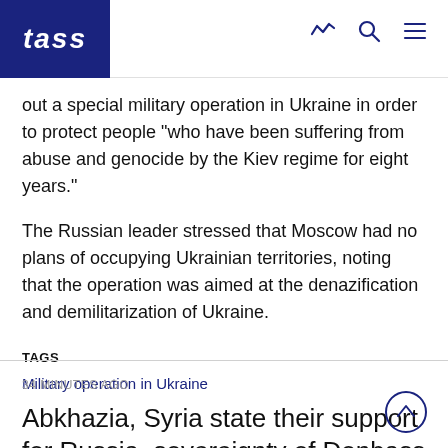TASS
out a special military operation in Ukraine in order to protect people "who have been suffering from abuse and genocide by the Kiev regime for eight years."
The Russian leader stressed that Moscow had no plans of occupying Ukrainian territories, noting that the operation was aimed at the denazification and demilitarization of Ukraine.
TAGS
Military operation in Ukraine
34 MINUTES AGO
Abkhazia, Syria state their support for Russia, sovereignty of Donbass republics